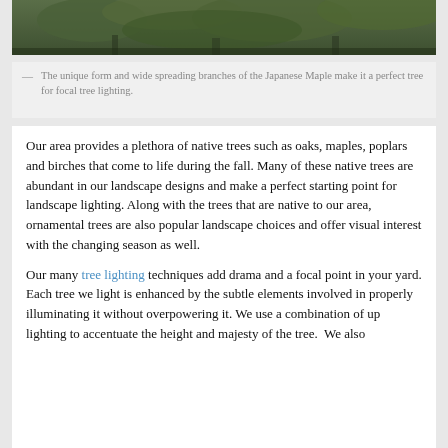[Figure (photo): Partial view of a Japanese Maple tree with wide spreading branches in a garden/landscape setting]
— The unique form and wide spreading branches of the Japanese Maple make it a perfect tree for focal tree lighting.
Our area provides a plethora of native trees such as oaks, maples, poplars and birches that come to life during the fall. Many of these native trees are abundant in our landscape designs and make a perfect starting point for landscape lighting. Along with the trees that are native to our area, ornamental trees are also popular landscape choices and offer visual interest with the changing season as well.
Our many tree lighting techniques add drama and a focal point in your yard. Each tree we light is enhanced by the subtle elements involved in properly illuminating it without overpowering it. We use a combination of up lighting to accentuate the height and majesty of the tree. We also include well lighting and shadowing techniques and lighting t